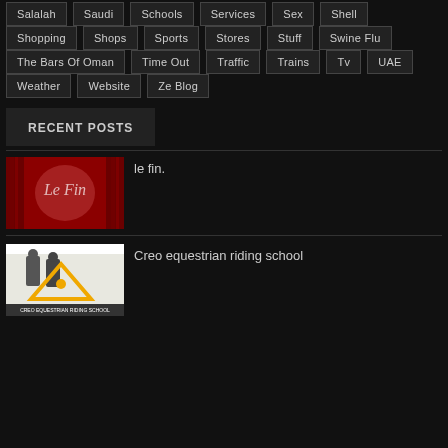Salalah
Saudi
Schools
Services
Sex
Shell
Shopping
Shops
Sports
Stores
Stuff
Swine Flu
The Bars Of Oman
Time Out
Traffic
Trains
Tv
UAE
Weather
Website
Ze Blog
RECENT POSTS
[Figure (photo): Theater stage with red curtains and the text 'Le Fin' in cursive script]
le fin.
[Figure (photo): Creo Equestrian Riding School promotional image with children on horses and a yellow triangle logo]
Creo equestrian riding school